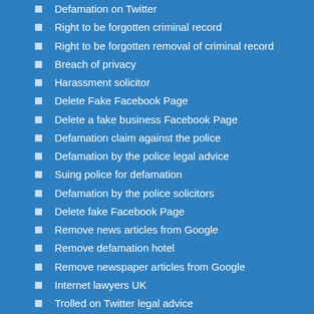Defamation on Twitter
Right to be forgotten criminal record
Right to be forgotten removal of criminal record
Breach of privacy
Harassment solicitor
Delete Fake Facebook Page
Delete a fake business Facebook Page
Defamation claim against the police
Defamation by the police legal advice
Suing police for defamation
Defamation by the police solicitors
Delete fake Facebook Page
Remove news articles from Google
Remove defamation hotel
Remove newspaper articles from Google
Internet lawyers UK
Trolled on Twitter legal advice
How to remove defamatory statement from google